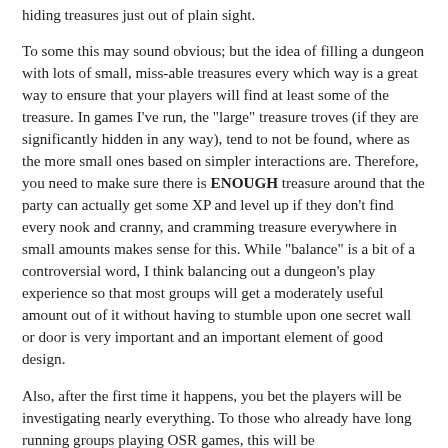hiding treasures just out of plain sight.
To some this may sound obvious; but the idea of filling a dungeon with lots of small, miss-able treasures every which way is a great way to ensure that your players will find at least some of the treasure. In games I've run, the "large" treasure troves (if they are significantly hidden in any way), tend to not be found, where as the more small ones based on simpler interactions are. Therefore, you need to make sure there is ENOUGH treasure around that the party can actually get some XP and level up if they don't find every nook and cranny, and cramming treasure everywhere in small amounts makes sense for this. While "balance" is a bit of a controversial word, I think balancing out a dungeon's play experience so that most groups will get a moderately useful amount out of it without having to stumble upon one secret wall or door is very important and an important element of good design.
Also, after the first time it happens, you bet the players will be investigating nearly everything. To those who already have long running groups playing OSR games, this will be